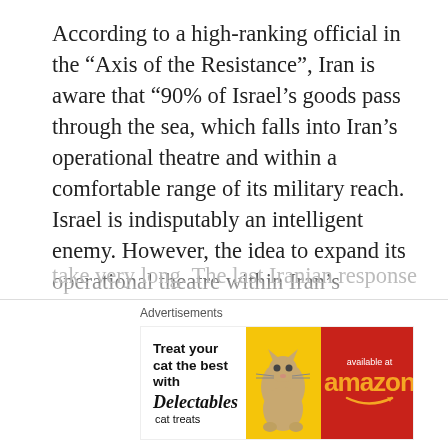According to a high-ranking official in the “Axis of the Resistance”, Iran is aware that “90% of Israel’s goods pass through the sea, which falls into Iran’s operational theatre and within a comfortable range of its military reach. Israel is indisputably an intelligent enemy. However, the idea to expand its operational theatre within Iran’s controlled area is arrogant, provocative, and counterproductive. Israel is offering Iran unlimited targets in the sea to select from when it initiates this game- which will undoubtedly break its teeth. Israel has much more to lose if it decides to respond to the Iranian attack because the retaliation from the Iranian side will not take very long. The last Iranian response was
Advertisements
[Figure (infographic): Advertisement banner: Treat your cat the best with Delectables cat treats, available at amazon]